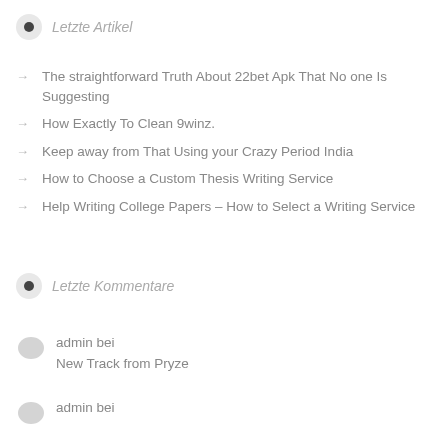Letzte Artikel
The straightforward Truth About 22bet Apk That No one Is Suggesting
How Exactly To Clean 9winz.
Keep away from That Using your Crazy Period India
How to Choose a Custom Thesis Writing Service
Help Writing College Papers – How to Select a Writing Service
Letzte Kommentare
admin bei
New Track from Pryze
admin bei